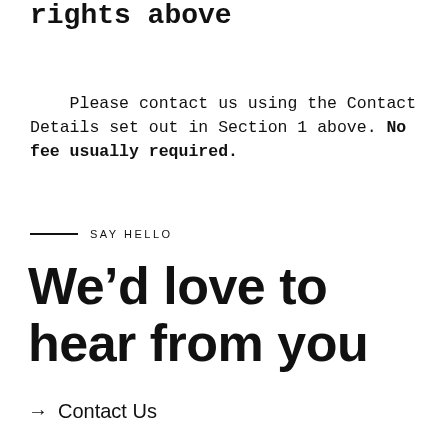rights above
Please contact us using the Contact Details set out in Section 1 above. No fee usually required.
SAY HELLO
We’d love to hear from you
→ Contact Us